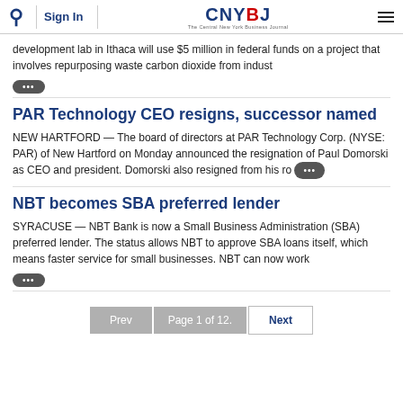Sign In | CNYBJ The Central New York Business Journal
development lab in Ithaca will use $5 million in federal funds on a project that involves repurposing waste carbon dioxide from indust ...
PAR Technology CEO resigns, successor named
NEW HARTFORD — The board of directors at PAR Technology Corp. (NYSE: PAR) of New Hartford on Monday announced the resignation of Paul Domorski as CEO and president. Domorski also resigned from his ro ...
NBT becomes SBA preferred lender
SYRACUSE — NBT Bank is now a Small Business Administration (SBA) preferred lender. The status allows NBT to approve SBA loans itself, which means faster service for small businesses. NBT can now work ...
Prev | Page 1 of 12. | Next